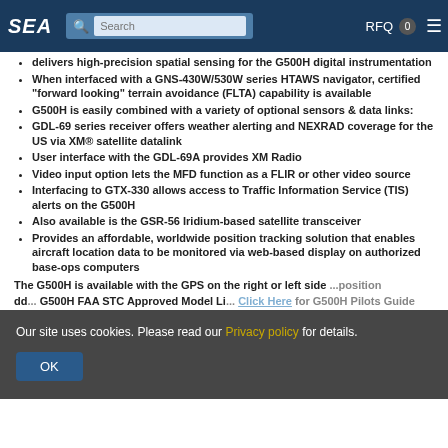SEA [navigation bar with search, RFQ 0, menu]
delivers high-precision spatial sensing for the G500H digital instrumentation
When interfaced with a GNS-430W/530W series HTAWS navigator, certified "forward looking" terrain avoidance (FLTA) capability is available
G500H is easily combined with a variety of optional sensors & data links:
GDL-69 series receiver offers weather alerting and NEXRAD coverage for the US via XM® satellite datalink
User interface with the GDL-69A provides XM Radio
Video input option lets the MFD function as a FLIR or other video source
Interfacing to GTX-330 allows access to Traffic Information Service (TIS) alerts on the G500H
Also available is the GSR-56 Iridium-based satellite transceiver
Provides an affordable, worldwide position tracking solution that enables aircraft location data to be monitored via web-based display on authorized base-ops computers
The G500H is available with the GPS on the right or left side ... position
dd... G500H FAA STC Approved Model Li... Click Here for G500H Pilots Guide
Our site uses cookies. Please read our Privacy policy for details. [OK button]